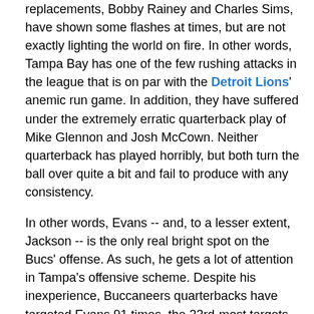replacements, Bobby Rainey and Charles Sims, have shown some flashes at times, but are not exactly lighting the world on fire. In other words, Tampa Bay has one of the few rushing attacks in the league that is on par with the Detroit Lions' anemic run game. In addition, they have suffered under the extremely erratic quarterback play of Mike Glennon and Josh McCown. Neither quarterback has played horribly, but both turn the ball over quite a bit and fail to produce with any consistency.

In other words, Evans -- and, to a lesser extent, Jackson -- is the only real bright spot on the Bucs' offense. As such, he gets a lot of attention in Tampa's offensive scheme. Despite his inexperience, Buccaneers quarterbacks have targeted Evans 91 times, the 23rd-most targets of any receiver in the NFL.